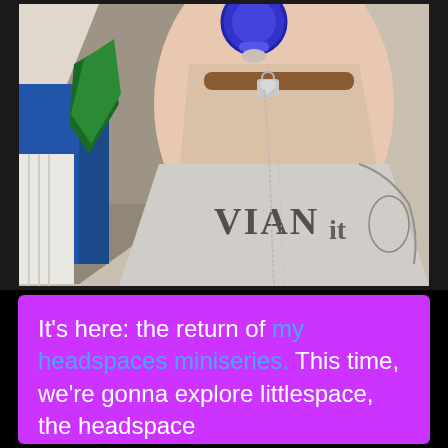[Figure (photo): Close-up photo of a person's neck and chest area wearing a grey graphic t-shirt with text/design, a brown leather collar with a heart-shaped padlock charm, silver chain necklaces, and holding a blue pacifier near their mouth. Colorful items visible in background.]
It's here: the return of my headspaces miniseries. This time, we're gonna explore littlespace, the headspace